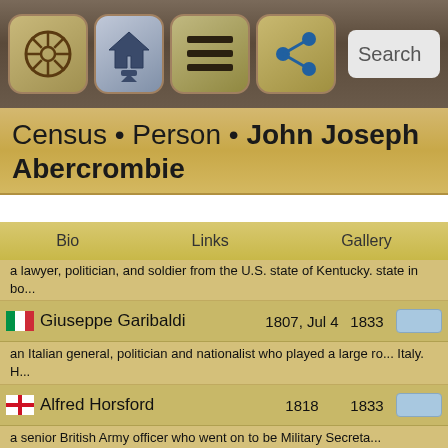[Figure (screenshot): Mobile app navigation bar with icons: ship wheel, home/up, menu, share, and search bar]
Census • Person • John Joseph Abercrombie
Bio    Links    Gallery
a lawyer, politician, and soldier from the U.S. state of Kentucky. state in bo...
Giuseppe Garibaldi   1807, Jul 4   1833
an Italian general, politician and nationalist who played a large ro... Italy. H...
Alfred Horsford   1818   1833
a senior British Army officer who went on to be Military Secreta... educated at ...
Ambrose Burnside   1824, May 23   1843
an American soldier, railroad-executive, inventor, industrialist, an... Rhode Islan...
John C. Fremont   1813, Jan 21   1833
an American military officer, explorer, and politician who becam... the anti...